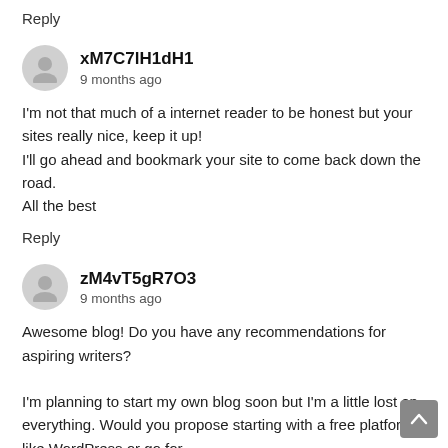Reply
xM7C7lH1dH1
9 months ago
I'm not that much of a internet reader to be honest but your sites really nice, keep it up!
I'll go ahead and bookmark your site to come back down the road.
All the best
Reply
zM4vT5gR7O3
9 months ago
Awesome blog! Do you have any recommendations for aspiring writers?

I'm planning to start my own blog soon but I'm a little lost on everything. Would you propose starting with a free platform like WordPress or go for